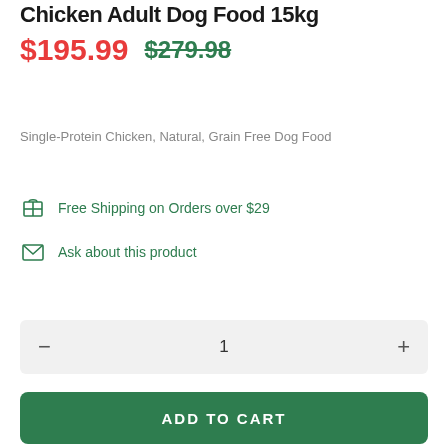Chicken Adult Dog Food 15kg
$195.99  $279.98
Single-Protein Chicken, Natural, Grain Free Dog Food
Free Shipping on Orders over $29
Ask about this product
1
ADD TO CART